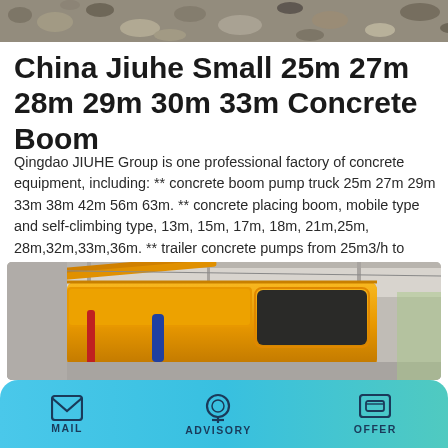[Figure (photo): Gravel or aggregate material photographed from above, used as background header image]
China Jiuhe Small 25m 27m 28m 29m 30m 33m Concrete Boom
Qingdao JIUHE Group is one professional factory of concrete equipment, including: ** concrete boom pump truck 25m 27m 29m 33m 38m 42m 56m 63m. ** concrete placing boom, mobile type and self-climbing type, 13m, 15m, 17m, 18m, 21m,25m, 28m,32m,33m,36m. ** trailer concrete pumps from 25m3/h to 100m3/h. ** concrete pump line / truck-mounted
[Figure (photo): Yellow concrete boom pump truck photographed in a factory setting, showing the truck cab and boom mechanism]
MAIL   ADVISORY   OFFER